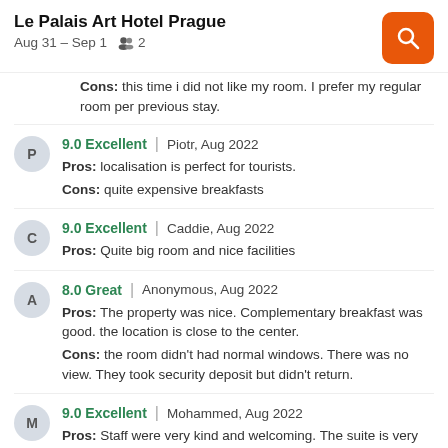Le Palais Art Hotel Prague
Aug 31 – Sep 1  2
Cons: this time i did not like my room. I prefer my regular room per previous stay.
9.0 Excellent | Piotr, Aug 2022
Pros: localisation is perfect for tourists.
Cons: quite expensive breakfasts
9.0 Excellent | Caddie, Aug 2022
Pros: Quite big room and nice facilities
8.0 Great | Anonymous, Aug 2022
Pros: The property was nice. Complementary breakfast was good. the location is close to the center.
Cons: the room didn't had normal windows. There was no view. They took security deposit but didn't return.
9.0 Excellent | Mohammed, Aug 2022
Pros: Staff were very kind and welcoming. The suite is very nice, and big enough for a family stay.